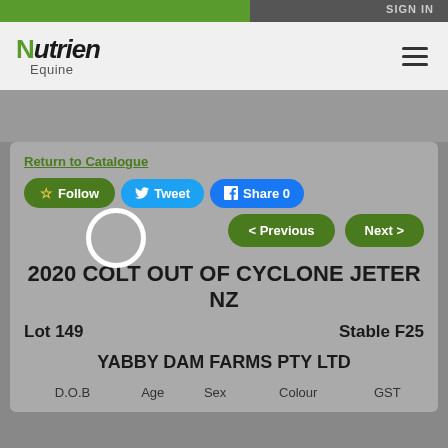SIGN IN
[Figure (logo): Nutrien Equine logo with green leaf icon]
Return to Catalogue
☆ Follow | Tweet | Share 0
< Previous | Next >
2020 COLT OUT OF CYCLONE JETER NZ
Lot 149    Stable F25
YABBY DAM FARMS PTY LTD
| D.O.B | Age | Sex | Colour | GST |
| --- | --- | --- | --- | --- |